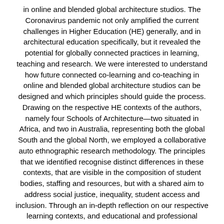in online and blended global architecture studios. The Coronavirus pandemic not only amplified the current challenges in Higher Education (HE) generally, and in architectural education specifically, but it revealed the potential for globally connected practices in learning, teaching and research. We were interested to understand how future connected co-learning and co-teaching in online and blended global architecture studios can be designed and which principles should guide the process. Drawing on the respective HE contexts of the authors, namely four Schools of Architecture—two situated in Africa, and two in Australia, representing both the global South and the global North, we employed a collaborative auto ethnographic research methodology. The principles that we identified recognise distinct differences in these contexts, that are visible in the composition of student bodies, staffing and resources, but with a shared aim to address social justice, inequality, student access and inclusion. Through an in-depth reflection on our respective learning contexts, and educational and professional practices, we identified